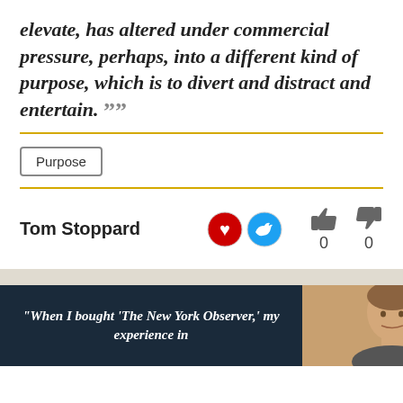elevate, has altered under commercial pressure, perhaps, into a different kind of purpose, which is to divert and distract and entertain.
Purpose
Tom Stoppard
[Figure (screenshot): Banner ad showing quote: When I bought 'The New York Observer,' my experience in — with a partial photo of a man on the right side against a brown background, on a dark navy background]
“When I bought ‘The New York Observer,’ my experience in